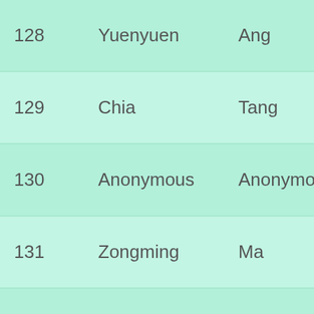| # | First Name | Last Name | Role |
| --- | --- | --- | --- |
| 128 | Yuenyuen | Ang | Non-player |
| 129 | Chia | Tang | Non-player |
| 130 | Anonymous | Anonymous | Non-player |
| 131 | Zongming | Ma | Non-player |
| 132 | Nan | Yao | Non-player |
| 133 | Anonymous | Anonymous | Non-player |